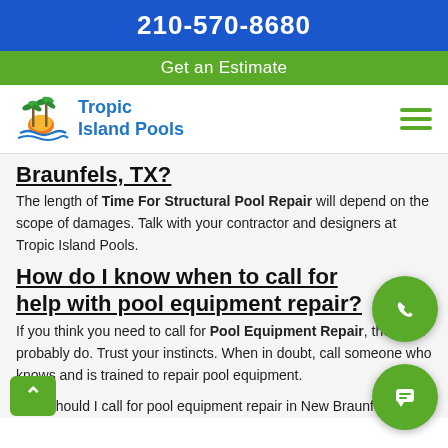210-570-8680
Get an Estimate
[Figure (logo): Tropic Island Pools logo with palm trees and sunset]
Braunfels, TX?
The length of Time For Structural Pool Repair will depend on the scope of damages. Talk with your contractor and designers at Tropic Island Pools.
How do I know when to call for help with pool equipment repair?
If you think you need to call for Pool Equipment Repair, then you probably do. Trust your instincts. When in doubt, call someone who knows and is trained to repair pool equipment.
Who should I call for pool equipment repair in New Braunfels, TX